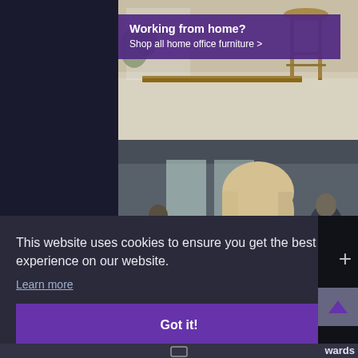[Figure (photo): Home office furniture advertisement showing a bar stool and bright office space with purple banner overlay]
Working from home?
Shop all home office furniture >
[Figure (photo): Person wearing a black face mask in an office environment with other people in background]
Nano-Silicon Antibac Face Masks
99.9% antimicrobial effective >
This website uses cookies to ensure you get the best experience on our website.
Learn more
Got it!